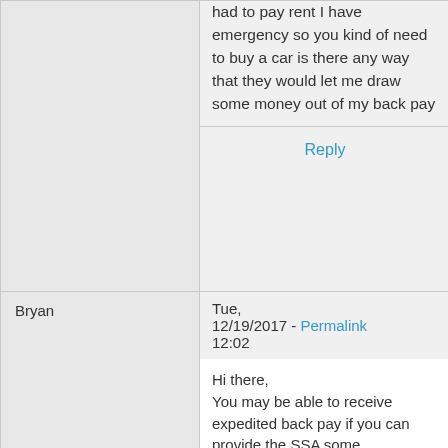had to pay rent I have emergency so you kind of need to buy a car is there any way that they would let me draw some money out of my back pay
Reply
Bryan
Tue, 12/19/2017 - Permalink 12:02
Hi there, You may be able to receive expedited back pay if you can provide the SSA some documentation about your need ( like an eviction notice, overdue bills, ect). You may